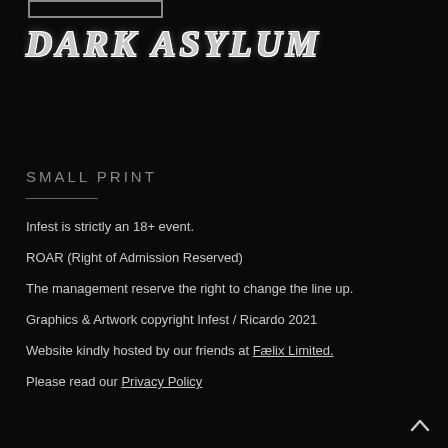[Figure (other): Small rectangular logo/image box outline at the top left]
DARK ASYLUM
SMALL PRINT
Infest is strictly an 18+ event.
ROAR (Right of Admission Reserved)
The management reserve the right to change the line up.
Graphics & Artwork copyright Infest / Ricardo 2021
Website kindly hosted by our friends at Fælix Limited.
Please read our Privacy Policy